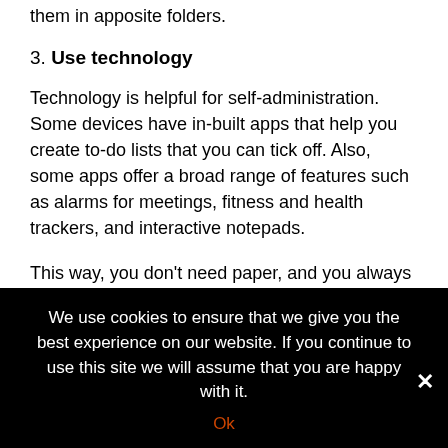them in apposite folders.
3. Use technology
Technology is helpful for self-administration. Some devices have in-built apps that help you create to-do lists that you can tick off. Also, some apps offer a broad range of features such as alarms for meetings, fitness and health trackers, and interactive notepads.
This way, you don't need paper, and you always have your mobile journal on your phone.
4. Become independent and responsible
This tip requires a shift in mentality. If you want to manage yourself and your work better, then you might want to take responsibility for
We use cookies to ensure that we give you the best experience on our website. If you continue to use this site we will assume that you are happy with it.